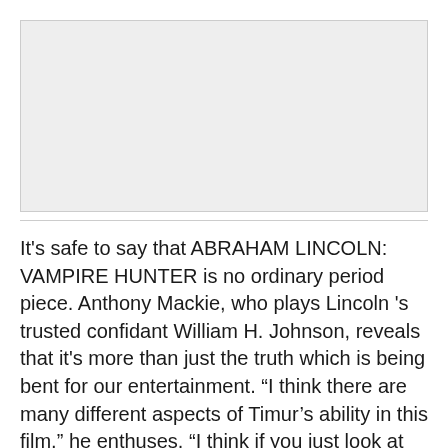[Figure (photo): Gray image placeholder area at the top of the page]
It's safe to say that ABRAHAM LINCOLN: VAMPIRE HUNTER is no ordinary period piece. Anthony Mackie, who plays Lincoln 's trusted confidant William H. Johnson, reveals that it's more than just the truth which is being bent for our entertainment. “I think there are many different aspects of Timur’s ability in this film,” he enthuses. “I think if you just look at how far he’s bending the truth you know you’re also going to see that in the camera work and the acting.”